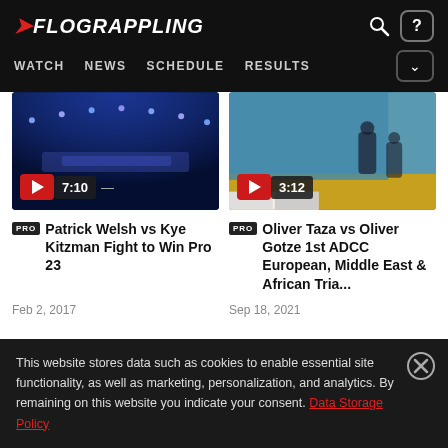FLOGRAPPLING — WATCH NEWS SCHEDULE RESULTS
[Figure (screenshot): Video thumbnail for Patrick Welsh vs Kye Kitzman — dark blue stage lighting background with play button showing duration 7:10]
PRO Patrick Welsh vs Kye Kitzman Fight to Win Pro 23
Feb 2, 2017
[Figure (screenshot): Video thumbnail for Oliver Taza vs Oliver Gotze — judo/grappling mat with athletes in blue uniforms, play button showing duration 3:12]
PRO Oliver Taza vs Oliver Gotze 1st ADCC European, Middle East & African Tria...
Sep 18, 2021
This website stores data such as cookies to enable essential site functionality, as well as marketing, personalization, and analytics. By remaining on this website you indicate your consent. Data Storage Policy